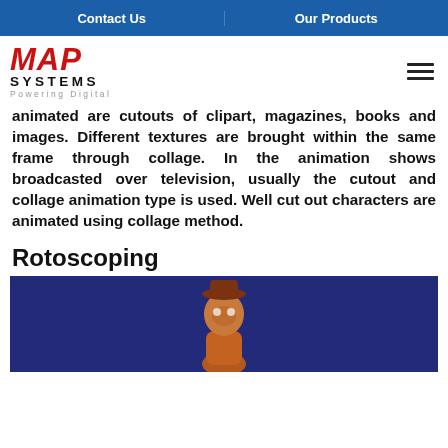Contact Us | Our Products
[Figure (logo): MAP Systems logo with red italic MAP text, bold SYSTEMS text, and gray Powering Digital tagline]
animated are cutouts of clipart, magazines, books and images. Different textures are brought within the same frame through collage. In the animation shows broadcasted over television, usually the cutout and collage animation type is used. Well cut out characters are animated using collage method.
Rotoscoping
[Figure (illustration): Animated character figure on a dark navy blue background, showing a brown-colored cartoon character from approximately the waist up]